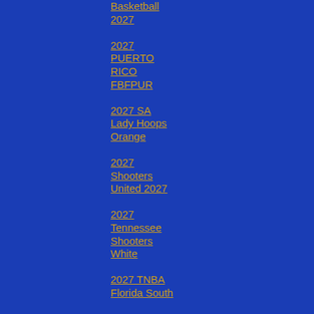Basketball 2027
2027 PUERTO RICO FBFPUR
2027 SA Lady Hoops Orange
2027 Shooters United 2027
2027 Tennessee Shooters White
2027 TNBA Florida South
2027 TNBA Houston
2027 Tulsa Hawks 2027
2028